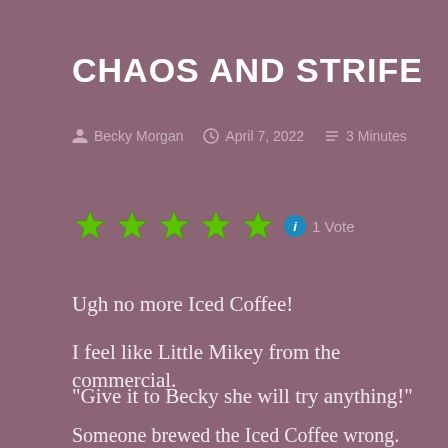CHAOS AND STRIFE
Becky Morgan   April 7, 2022   3 Minutes
[Figure (other): Five green stars rating with info icon and '1 Vote' label]
Ugh no more Iced Coffee!
I feel like Little Mikey from the commercial.
"Give it to Becky she will try anything!"
Someone brewed the Iced Coffee wrong. Then the calibration was off on the coffee machine. So I had to keep taste testing watery warm double